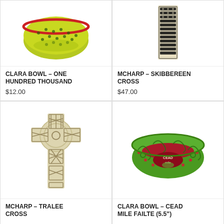[Figure (photo): Clara Bowl - One Hundred Thousand, a decorative bowl with yellow-green and red Celtic pattern]
CLARA BOWL – ONE HUNDRED THOUSAND
$12.00
[Figure (photo): McHarp - Skibbereen Cross, a tall narrow decorative cross bookmark with black floral Celtic knotwork on cream background]
McHarp – SKIBBEREEN CROSS
$47.00
[Figure (photo): McHarp - Tralee Cross, a large carved Celtic high cross with intricate knotwork patterns in cream/beige stone]
McHarp – TRALEE CROSS
[Figure (photo): Clara Bowl - Cead Mile Failte (5.5"), a decorative green and red bowl with Celtic spiral patterns and Irish text]